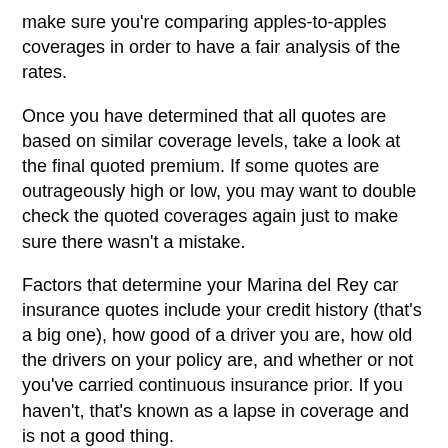make sure you're comparing apples-to-apples coverages in order to have a fair analysis of the rates.
Once you have determined that all quotes are based on similar coverage levels, take a look at the final quoted premium. If some quotes are outrageously high or low, you may want to double check the quoted coverages again just to make sure there wasn't a mistake.
Factors that determine your Marina del Rey car insurance quotes include your credit history (that's a big one), how good of a driver you are, how old the drivers on your policy are, and whether or not you've carried continuous insurance prior. If you haven't, that's known as a lapse in coverage and is not a good thing.
Find Cheaper Marina del Rey Auto Insurance
There are other ways to find Marina del Rey car insurance if you have the time.